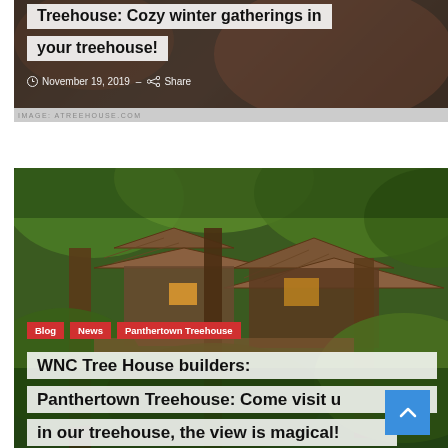[Figure (photo): Top hero image of a cozy treehouse interior scene, partially visible with warm tones. Contains a title overlay 'Treehouse: Cozy winter gatherings in your treehouse!' and date 'November 19, 2019' with Share link.]
Treehouse: Cozy winter gatherings in your treehouse!
November 19, 2019 - Share
[Figure (photo): Large photo of Panthertown Treehouse exterior surrounded by lush trees and foliage. A multi-level wooden treehouse with cedar shingle roofs visible through green canopy.]
Blog | News | Panthertown Treehouse
WNC Tree House builders: Panthertown Treehouse: Come visit us in our treehouse, the view is magical!